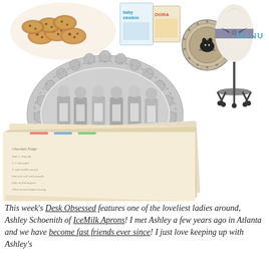[Figure (photo): Collage of items: cookies/biscuits top left, children's books (Baby Einstein, Dora), a circular coin/medal, an ornate silver oval picture frame with a black-and-white photo of women in aprons, two pairs of scissors (decorative gold and plain black), a white dress form/mannequin with dark sash, and stacked handwritten recipe cards/letters.]
This week's Desk Obsessed features one of the loveliest ladies around, Ashley Schoenith of IceMilk Aprons! I met Ashley a few years ago in Atlanta and we have become fast friends ever since! I just love keeping up with Ashley's